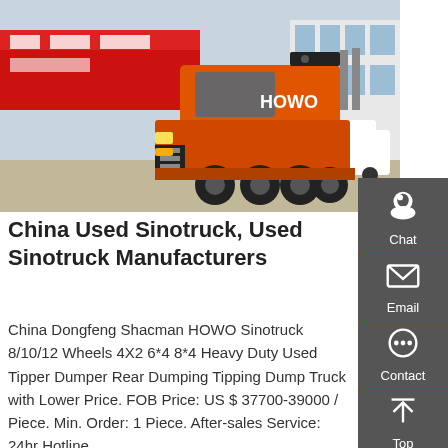[Figure (photo): Orange HOWO Sinotruck tractor unit parked in front of a commercial building with red signage, other trucks and cars visible in background]
China Used Sinotruck, Used Sinotruck Manufacturers
China Dongfeng Shacman HOWO Sinotruck 8/10/12 Wheels 4X2 6*4 8*4 Heavy Duty Used Tipper Dumper Rear Dumping Tipping Dump Truck with Lower Price. FOB Price: US $ 37700-39000 / Piece. Min. Order: 1 Piece. After-sales Service: 24hr Hotline.